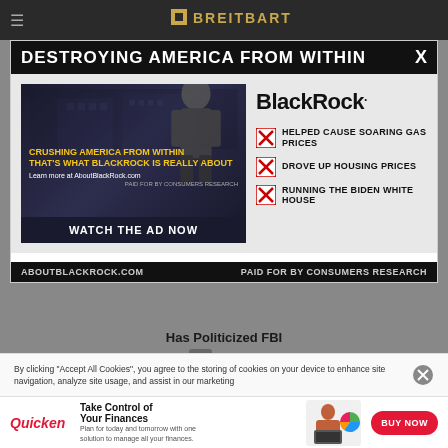BREITBART
[Figure (screenshot): BlackRock political advertisement overlay on Breitbart news website. Shows a video thumbnail with a man in front of the White House with yellow text 'CRUSHING AMERICA FROM WITHIN THAT'S WHY BLACKROCK IS REALLY ABOUT' and a 'WATCH THE AD NOW' button. Right side shows BlackRock logo with checkboxes listing: HELPED CAUSE SOARING GAS PRICES, DROVE UP HOUSING PRICES, RUNNING THE BIDEN WHITE HOUSE. Footer shows ABOUTBLACKROCK.COM and PAID FOR BY CONSUMERS RESEARCH. Header reads DESTROYING AMERICA FROM WITHIN with X close button.]
DESTROYING AMERICA FROM WITHIN
BlackRock.
HELPED CAUSE SOARING GAS PRICES
DROVE UP HOUSING PRICES
RUNNING THE BIDEN WHITE HOUSE
WATCH THE AD NOW
ABOUTBLACKROCK.COM   PAID FOR BY CONSUMERS RESEARCH
Has Politicized FBI
By clicking “Accept All Cookies”, you agree to the storing of cookies on your device to enhance site navigation, analyze site usage, and assist in our marketing
[Figure (screenshot): Quicken advertisement banner showing logo, 'Take Control of Your Finances' headline, woman using laptop, colorful pie chart graphic, and BUY NOW button]
Take Control of Your Finances
Plan for today and tomorrow with one solution to manage all your finances.
BUY NOW